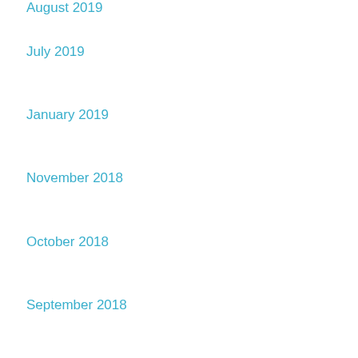August 2019
July 2019
January 2019
November 2018
October 2018
September 2018
August 2018
July 2018
June 2018
April 2018
December 2017
November 2017
Rev Hanamoku's Favorites